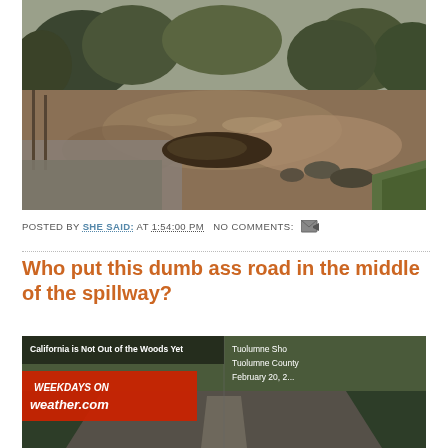[Figure (photo): Flooded road or spillway with muddy brown water, debris pile in center, trees in background, gray overcast sky]
POSTED BY SHE SAID: AT 1:54:00 PM   NO COMMENTS:
Who put this dumb ass road in the middle of the spillway?
[Figure (screenshot): TV news screenshot showing 'California is Not Out of the Woods Yet', 'WEEKDAYS ON weather.com', Tuolumne Show, Tuolumne County, February 20, 2...]